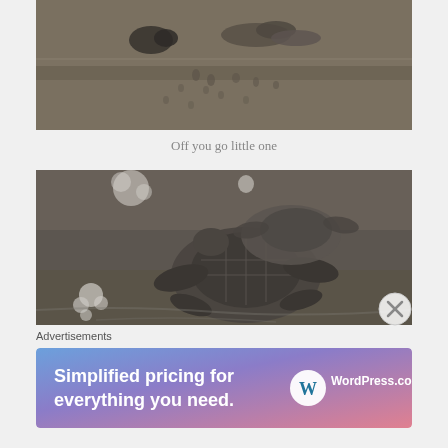[Figure (photo): Baby sea turtle on dark sand beach with footprints visible on the sand]
Off you go little one
[Figure (photo): Close-up of two baby sea turtles on dark wet sand, one large turtle in foreground with flippers extended]
Advertisements
[Figure (other): WordPress.com advertisement banner: Simplified pricing for everything you need.]